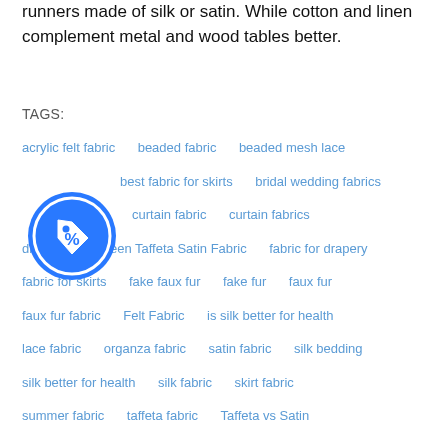runners made of silk or satin. While cotton and linen complement metal and wood tables better.
TAGS:
acrylic felt fabric
beaded fabric
beaded mesh lace
best fabric
best fabric for skirts
bridal wedding fabrics
curtain fabric
curtain fabrics
difference between Taffeta Satin Fabric
fabric for drapery
fabric for skirts
fake faux fur
fake fur
faux fur
faux fur fabric
Felt Fabric
is silk better for health
lace fabric
organza fabric
satin fabric
silk bedding
silk better for health
silk fabric
skirt fabric
summer fabric
taffeta fabric
Taffeta vs Satin
[Figure (illustration): Blue circular badge/icon with a tag/price-tag symbol containing a percent sign]